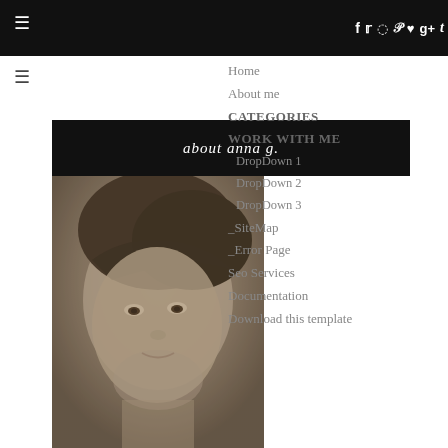☰ [social icons: f t instagram pinterest heart g+ t]
☰
Home
About me
CATEGORIES
WORK WITH ME
DropDown 1
DropDown 2
DropDown 3
_SiteMap
_Error Page
Seo Services
Documentation
Download this template
about anna g.
[Figure (photo): Black and white close-up portrait photograph of a woman with dark hair and bangs, looking slightly to the side]